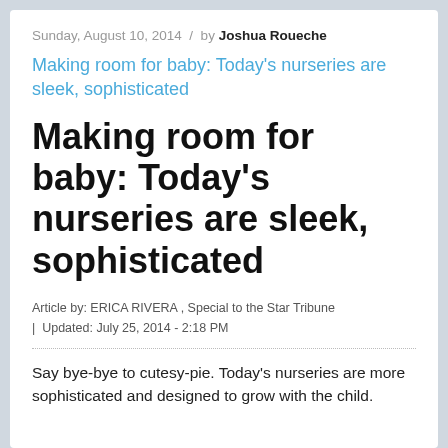Sunday, August 10, 2014 / by Joshua Roueche
Making room for baby: Today's nurseries are sleek, sophisticated
Making room for baby: Today's nurseries are sleek, sophisticated
Article by: ERICA RIVERA , Special to the Star Tribune
| Updated: July 25, 2014 - 2:18 PM
Say bye-bye to cutesy-pie. Today's nurseries are more sophisticated and designed to grow with the child.